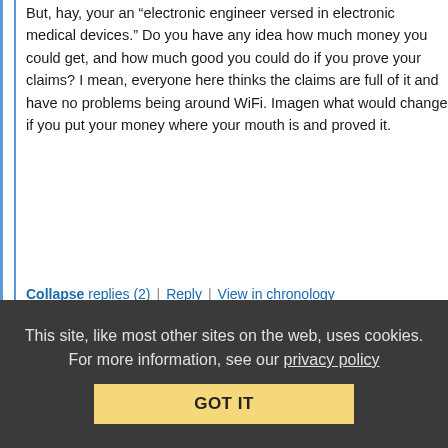But, hay, your an “electronic engineer versed in electronic medical devices.” Do you have any idea how much money you could get, and how much good you could do if you prove your claims? I mean, everyone here thinks the claims are full of it and have no problems being around WiFi. Imagen what would change if you put your money where your mouth is and proved it.
Collapse replies (2) | Reply | View in chronology
[Figure (infographic): Row of comment action icons: lightbulb (insightful), laughing face (funny), open quote bubble, close quote bubble, flag]
[6]
This site, like most other sites on the web, uses cookies. For more information, see our privacy policy
GOT IT